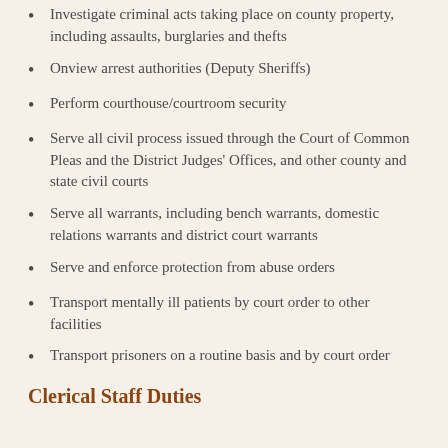Investigate criminal acts taking place on county property, including assaults, burglaries and thefts
Onview arrest authorities (Deputy Sheriffs)
Perform courthouse/courtroom security
Serve all civil process issued through the Court of Common Pleas and the District Judges' Offices, and other county and state civil courts
Serve all warrants, including bench warrants, domestic relations warrants and district court warrants
Serve and enforce protection from abuse orders
Transport mentally ill patients by court order to other facilities
Transport prisoners on a routine basis and by court order
Clerical Staff Duties